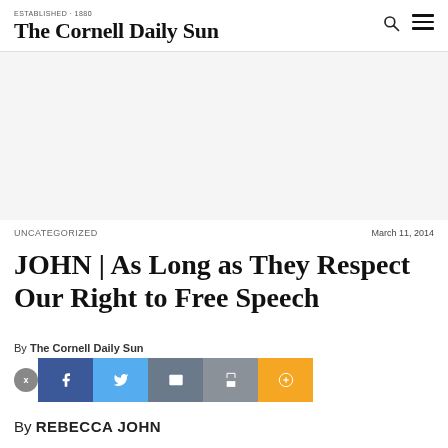The Cornell Daily Sun
[Figure (other): Advertisement area (blank gray box)]
UNCATEGORIZED
March 11, 2014
JOHN | As Long as They Respect Our Right to Free Speech
By The Cornell Daily Sun
[Figure (other): Social share buttons: Facebook, Twitter, Email, Print, Plus]
By REBECCA JOHN